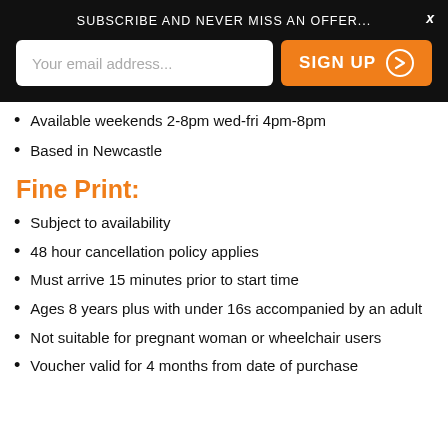SUBSCRIBE AND NEVER MISS AN OFFER...
Available weekends 2-8pm wed-fri 4pm-8pm
Based in Newcastle
Fine Print:
Subject to availability
48 hour cancellation policy applies
Must arrive 15 minutes prior to start time
Ages 8 years plus with under 16s accompanied by an adult
Not suitable for pregnant woman or wheelchair users
Voucher valid for 4 months from date of purchase